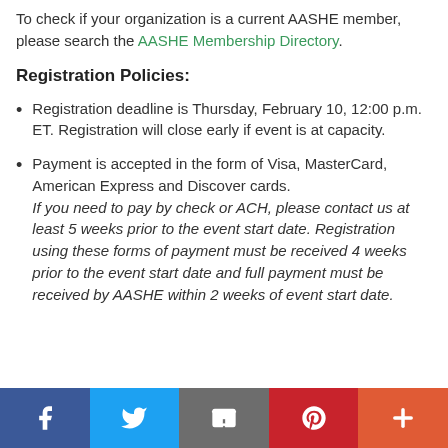To check if your organization is a current AASHE member, please search the AASHE Membership Directory.
Registration Policies:
Registration deadline is Thursday, February 10, 12:00 p.m. ET. Registration will close early if event is at capacity.
Payment is accepted in the form of Visa, MasterCard, American Express and Discover cards. If you need to pay by check or ACH, please contact us at least 5 weeks prior to the event start date. Registration using these forms of payment must be received 4 weeks prior to the event start date and full payment must be received by AASHE within 2 weeks of event start date.